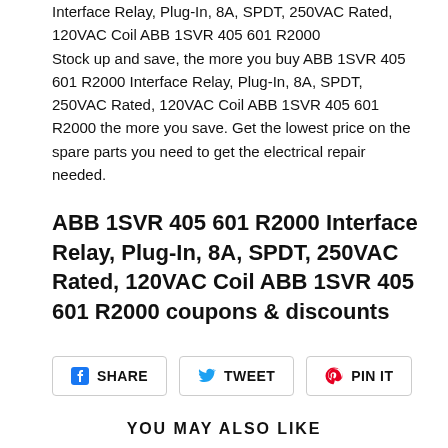Interface Relay, Plug-In, 8A, SPDT, 250VAC Rated, 120VAC Coil ABB 1SVR 405 601 R2000
Stock up and save, the more you buy ABB 1SVR 405 601 R2000 Interface Relay, Plug-In, 8A, SPDT, 250VAC Rated, 120VAC Coil ABB 1SVR 405 601 R2000 the more you save. Get the lowest price on the spare parts you need to get the electrical repair needed.
ABB 1SVR 405 601 R2000 Interface Relay, Plug-In, 8A, SPDT, 250VAC Rated, 120VAC Coil ABB 1SVR 405 601 R2000 coupons & discounts
SHARE   TWEET   PIN IT
YOU MAY ALSO LIKE